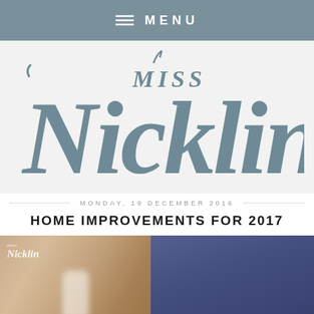MENU
[Figure (logo): Miss Nicklin blog logo in large hand-lettered gray script font]
MONDAY, 19 DECEMBER 2016
HOME IMPROVEMENTS FOR 2017
[Figure (photo): A blurred lifestyle photo showing a white jar on a wooden table on the left, and a dark navy blue surface on the right, with a Miss Nicklin watermark in the top-left corner]